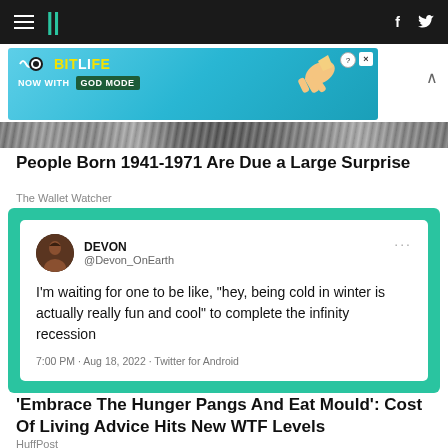HuffPost navigation bar with hamburger menu, logo, Facebook and Twitter icons
[Figure (screenshot): BitLife advertisement banner - NOW WITH GOD MODE]
[Figure (photo): Partial image strip of a person]
People Born 1941-1971 Are Due a Large Surprise
The Wallet Watcher
[Figure (screenshot): Tweet by Devon @Devon_OnEarth: I'm waiting for one to be like, "hey, being cold in winter is actually really fun and cool" to complete the infinity recession. 7:00 PM · Aug 18, 2022 · Twitter for Android]
'Embrace The Hunger Pangs And Eat Mould': Cost Of Living Advice Hits New WTF Levels
HuffPost